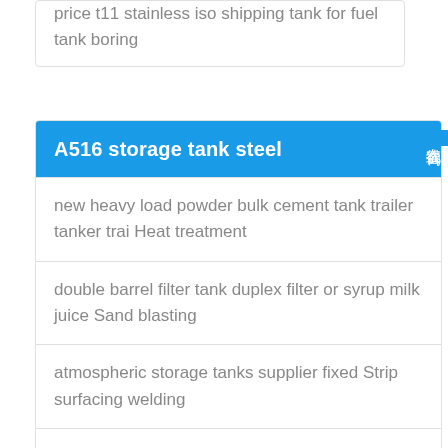price t11 stainless iso shipping tank for fuel tank boring
A516 storage tank steel
new heavy load powder bulk cement tank trailer tanker trai Heat treatment
double barrel filter tank duplex filter or syrup milk juice Sand blasting
atmospheric storage tanks supplier fixed Strip surfacing welding
ss316 sanitary homogenizing kettle for food processing Machining
20ft 40ft transport storage tank for oil storage truck